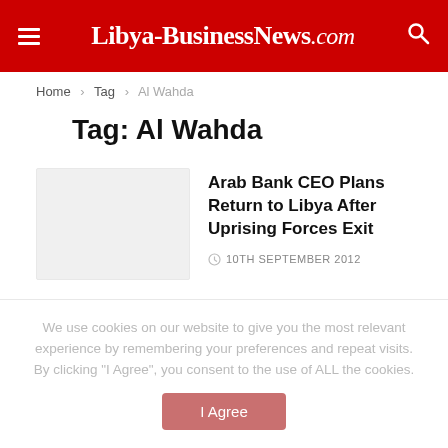Libya-BusinessNews.com
Home > Tag > Al Wahda
Tag: Al Wahda
[Figure (photo): Thumbnail image placeholder for article]
Arab Bank CEO Plans Return to Libya After Uprising Forces Exit
10TH SEPTEMBER 2012
We use cookies on our website to give you the most relevant experience by remembering your preferences and repeat visits. By clicking "I Agree", you consent to the use of ALL the cookies.